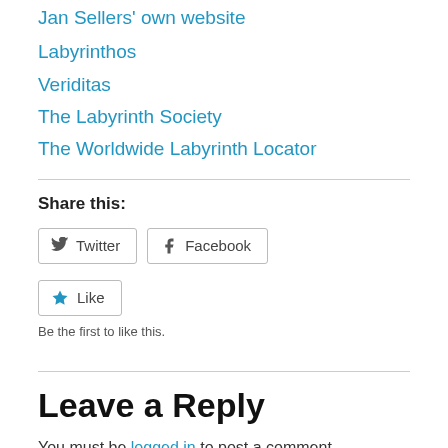Jan Sellers' own website
Labyrinthos
Veriditas
The Labyrinth Society
The Worldwide Labyrinth Locator
Share this:
Twitter  Facebook
Like  Be the first to like this.
Leave a Reply
You must be logged in to post a comment.